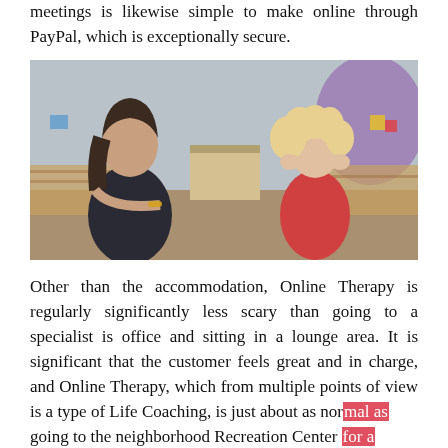meetings is likewise simple to make online through PayPal, which is exceptionally secure.
[Figure (photo): A woman (therapist or teacher) sitting across from a young curly-haired girl in a colorful classroom or therapy room setting. The woman holds or manipulates an object between them.]
Other than the accommodation, Online Therapy is regularly significantly less scary than going to a specialist is office and sitting in a lounge area. It is significant that the customer feels great and in charge, and Online Therapy, which from multiple points of view is a type of Life Coaching, is just about as normal as going to the neighborhood Recreation Center for a decent exercise. The customer controls the entire